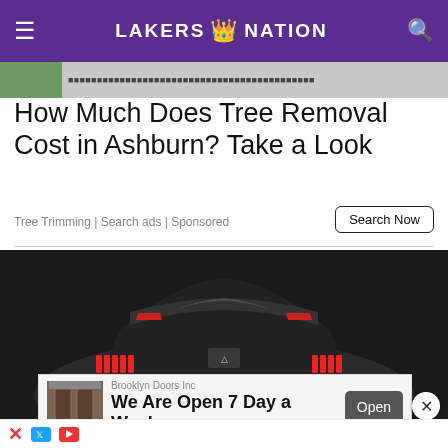LAKERS 🏆 NATION
[Figure (screenshot): Ad banner strip with thumbnail image at top]
How Much Does Tree Removal Cost in Ashburn? Take a Look
Tree Trimming | Search ads | Sponsored
Search Now
[Figure (photo): Black Peugeot concept sports car viewed from rear three-quarter angle]
[Figure (screenshot): Brooklyn Doors Inc advertisement: We Are Open 7 Day a Week, with Open button]
X  [X logo] [play logo]